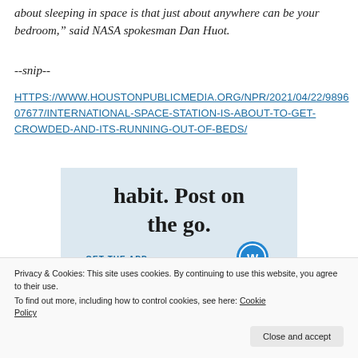about sleeping in space is that just about anywhere can be your bedroom," said NASA spokesman Dan Huot.
--snip--
HTTPS://WWW.HOUSTONPUBLICMEDIA.ORG/NPR/2021/04/22/98960767/INTERNATIONAL-SPACE-STATION-IS-ABOUT-TO-GET-CROWDED-AND-ITS-RUNNING-OUT-OF-BEDS/
[Figure (screenshot): WordPress mobile app advertisement showing text 'habit. Post on the go.' and 'GET THE APP' with WordPress logo]
Privacy & Cookies: This site uses cookies. By continuing to use this website, you agree to their use. To find out more, including how to control cookies, see here: Cookie Policy